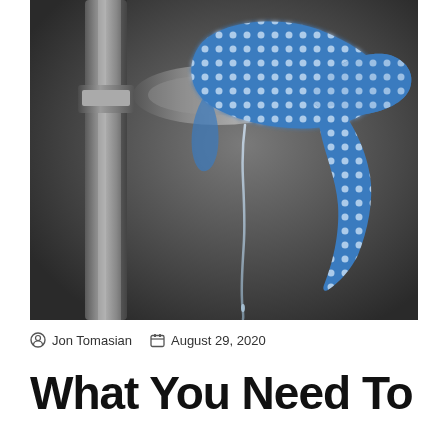[Figure (photo): Close-up photograph of a water faucet/outdoor spigot with a blue polka-dot cloth/rag wrapped around it, with water dripping down. Dark grey background. A vertical metal pipe is visible on the left.]
Jon Tomasian   August 29, 2020
What You Need To